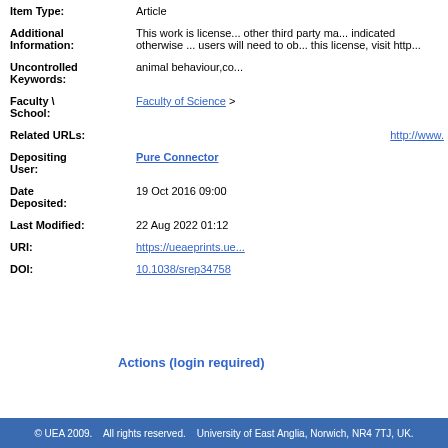| Field | Value |
| --- | --- |
| Item Type: | Article |
| Additional Information: | This work is licensed ... other third party ma... indicated otherwise ... users will need to ob... this license, visit http... |
| Uncontrolled Keywords: | animal behaviour,co... |
| Faculty \ School: | Faculty of Science >... |
| Related URLs: | http://www.... |
| Depositing User: | Pure Connector |
| Date Deposited: | 19 Oct 2016 09:00 |
| Last Modified: | 22 Aug 2022 01:12 |
| URI: | https://ueaeprints.ue... |
| DOI: | 10.1038/srep34758 |
Actions (login required)
© UEA 2009.    All rights reserved.    University of East Anglia, Norwich, NR4 7TJ, UK.